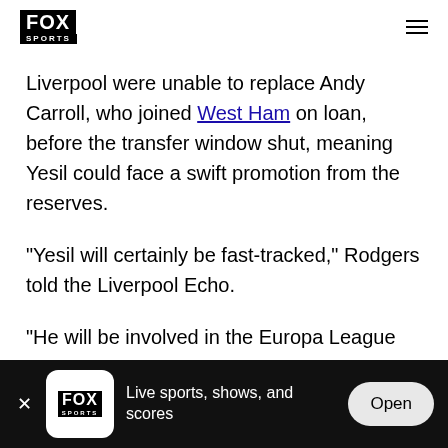FOX SPORTS
Liverpool were unable to replace Andy Carroll, who joined West Ham on loan, before the transfer window shut, meaning Yesil could face a swift promotion from the reserves.
"Yesil will certainly be fast-tracked," Rodgers told the Liverpool Echo.
"He will be involved in the Europa League game.
FOX SPORTS — Live sports, shows, and scores — Open